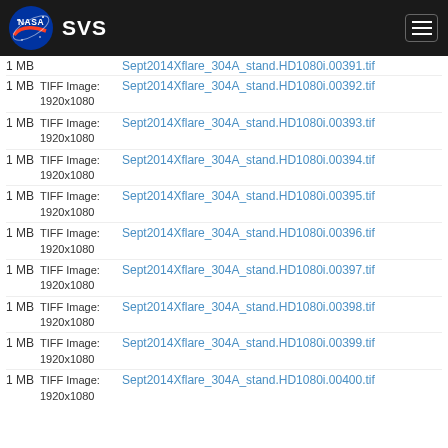NASA SVS
1 MB TIFF Image: 1920x1080 Sept2014Xflare_304A_stand.HD1080i.00391.tif
1 MB TIFF Image: 1920x1080 Sept2014Xflare_304A_stand.HD1080i.00392.tif
1 MB TIFF Image: 1920x1080 Sept2014Xflare_304A_stand.HD1080i.00393.tif
1 MB TIFF Image: 1920x1080 Sept2014Xflare_304A_stand.HD1080i.00394.tif
1 MB TIFF Image: 1920x1080 Sept2014Xflare_304A_stand.HD1080i.00395.tif
1 MB TIFF Image: 1920x1080 Sept2014Xflare_304A_stand.HD1080i.00396.tif
1 MB TIFF Image: 1920x1080 Sept2014Xflare_304A_stand.HD1080i.00397.tif
1 MB TIFF Image: 1920x1080 Sept2014Xflare_304A_stand.HD1080i.00398.tif
1 MB TIFF Image: 1920x1080 Sept2014Xflare_304A_stand.HD1080i.00399.tif
1 MB TIFF Image: 1920x1080 Sept2014Xflare_304A_stand.HD1080i.00400.tif